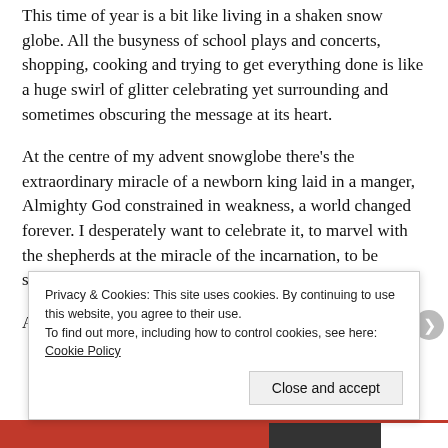This time of year is a bit like living in a shaken snow globe.  All the busyness of school plays and concerts, shopping, cooking and trying to get everything done is like a huge swirl of glitter celebrating yet surrounding and sometimes obscuring the message at its heart.
At the centre of my advent snowglobe there's the extraordinary miracle of a newborn king laid in a manger, Almighty God constrained in weakness, a world changed forever.  I desperately want to celebrate it, to marvel with the shepherds at the miracle of the incarnation, to be soaked in the reality of God-with-us.
And yet there are days when all I can see is the snow, and
Privacy & Cookies: This site uses cookies. By continuing to use this website, you agree to their use.
To find out more, including how to control cookies, see here: Cookie Policy
Close and accept